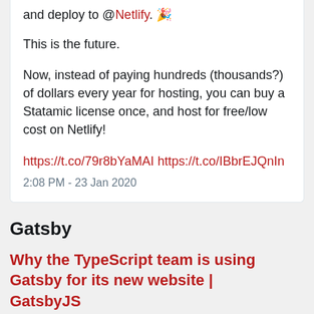and deploy to @Netlify. 🎉
This is the future.
Now, instead of paying hundreds (thousands?) of dollars every year for hosting, you can buy a Statamic license once, and host for free/low cost on Netlify!
https://t.co/79r8bYaMAI https://t.co/IBbrEJQnIn
2:08 PM - 23 Jan 2020
Gatsby
Why the TypeScript team is using Gatsby for its new website | GatsbyJS